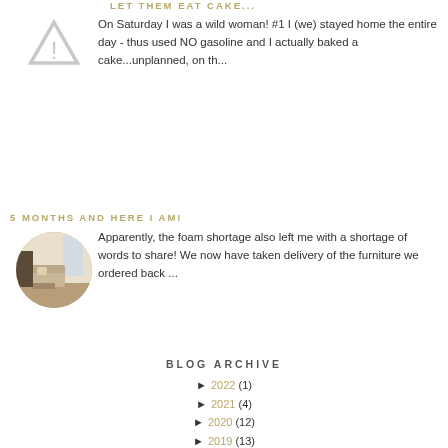LET THEM EAT CAKE...
On Saturday I was a wild woman! #1 I (we) stayed home the entire day - thus used NO gasoline and I actually baked a cake...unplanned, on th...
5 MONTHS AND HERE I AM!
Apparently, the foam shortage also left me with a shortage of words to share!  We now have taken delivery of the furniture we ordered back ...
BLOG ARCHIVE
► 2022 (1)
► 2021 (4)
► 2020 (12)
► 2019 (13)